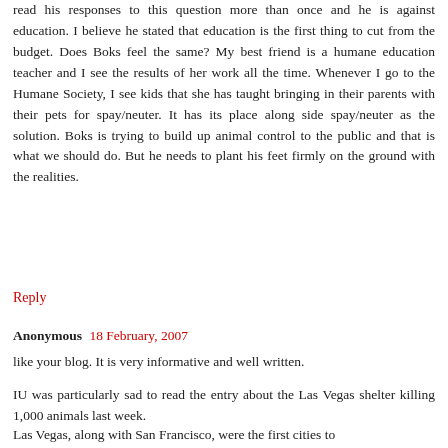read his responses to this question more than once and he is against education. I believe he stated that education is the first thing to cut from the budget. Does Boks feel the same? My best friend is a humane education teacher and I see the results of her work all the time. Whenever I go to the Humane Society, I see kids that she has taught bringing in their parents with their pets for spay/neuter. It has its place along side spay/neuter as the solution. Boks is trying to build up animal control to the public and that is what we should do. But he needs to plant his feet firmly on the ground with the realities.
Reply
Anonymous  18 February, 2007
like your blog. It is very informative and well written.
IU was particularly sad to read the entry about the Las Vegas shelter killing 1,000 animals last week.
Las Vegas, along with San Francisco, were the first cities to